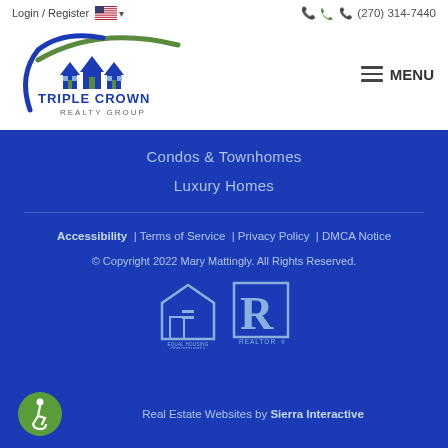Login / Register   (270) 314-7440   MENU
[Figure (logo): Triple Crown Realty Group logo with house silhouettes and swoosh design]
Condos & Townhomes
Luxury Homes
Accessibility | Terms of Service | Privacy Policy | DMCA Notice
© Copyright 2022 Mary Mattingly. All Rights Reserved.
Real Estate Websites by Sierra Interactive